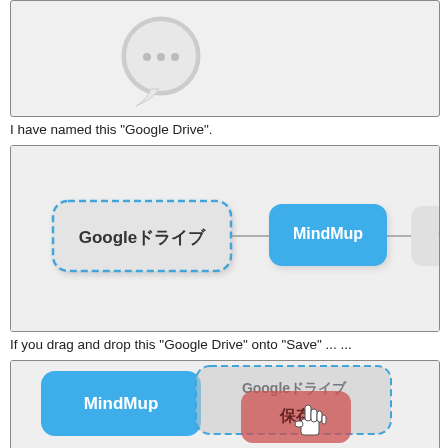[Figure (screenshot): Top screenshot showing a chat bubble icon (partially visible), clipped at top of page.]
I have named this "Google Drive".
[Figure (screenshot): Mind map screenshot showing three connected nodes: 'Googleドライブ' (with blue dashed border, selected), 'MindMup' (blue rounded rectangle), and '保存' (gray rounded rectangle). Nodes connected by lines.]
If you drag and drop this "Google Drive" onto "Save" ... ...
[Figure (screenshot): Screenshot of drag-and-drop action: 'MindMup' (blue node) and a semi-transparent 'Googleドライブ' (with blue dashed border) being dragged over '保存' (save button, now red/pink), with a pointer cursor hand icon visible.]